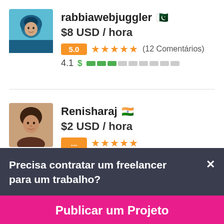[Figure (photo): Profile avatar of rabbiawebjuggler, person with blue/teal hair or hijab]
rabbiawebjuggler 🇵🇰
$8 USD / hora
5.0 ★★★★★ (12 Comentários)
4.1 $ ▓▓▓░░░░░░░
[Figure (photo): Profile avatar of Renisharaj, young woman]
Renisharaj 🇮🇳
$2 USD / hora
Precisa contratar um freelancer para um trabalho?
Publicar um Projeto